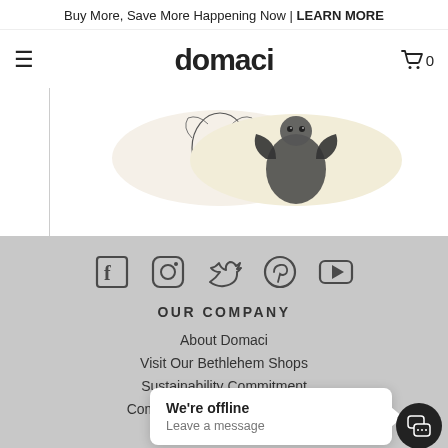Buy More, Save More Happening Now | LEARN MORE
domaci
[Figure (photo): Two decorative pillows with animal illustrations on cream background]
[Figure (infographic): Social media icons row: Facebook, Instagram, Twitter, Pinterest, YouTube]
OUR COMPANY
About Domaci
Visit Our Bethlehem Shops
Sustainability Commitment
Community Reward Shop Back
C...
Fran...
[Figure (screenshot): Chat widget popup saying 'We're offline / Leave a message' with dark circular chat button]